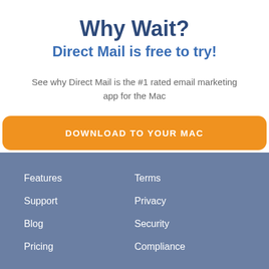Why Wait?
Direct Mail is free to try!
See why Direct Mail is the #1 rated email marketing app for the Mac
[Figure (other): Orange download button with text DOWNLOAD TO YOUR MAC]
Features  Terms  Support  Privacy  Blog  Security  Pricing  Compliance